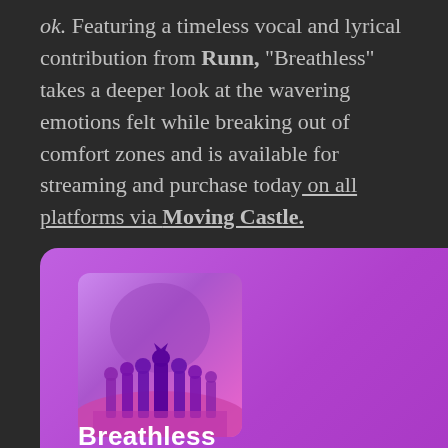ok. Featuring a timeless vocal and lyrical contribution from Runn, "Breathless" takes a deeper look at the wavering emotions felt while breaking out of comfort zones and is available for streaming and purchase today on all platforms via Moving Castle.
[Figure (screenshot): Spotify embed card with purple background showing album art for 'Breathless' — album art features silhouettes of a group of people against a purple/pink gradient background. A Spotify logo appears in the top right corner. The title 'Breathless' appears in white bold text at the bottom left.]